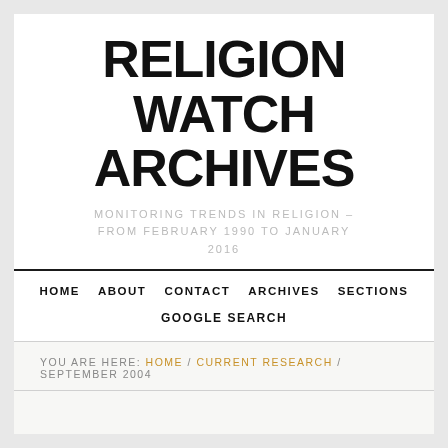RELIGION WATCH ARCHIVES
MONITORING TRENDS IN RELIGION – FROM FEBRUARY 1990 TO JANUARY 2016
HOME  ABOUT  CONTACT  ARCHIVES  SECTIONS
GOOGLE SEARCH
YOU ARE HERE: HOME / CURRENT RESEARCH / SEPTEMBER 2004